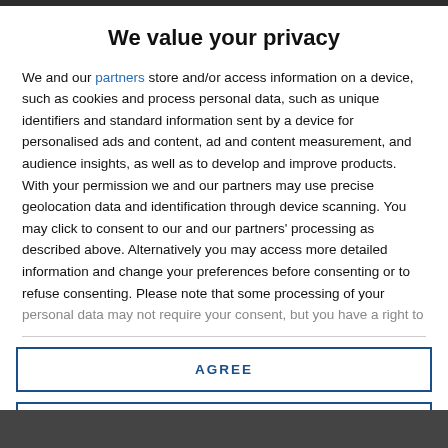We value your privacy
We and our partners store and/or access information on a device, such as cookies and process personal data, such as unique identifiers and standard information sent by a device for personalised ads and content, ad and content measurement, and audience insights, as well as to develop and improve products. With your permission we and our partners may use precise geolocation data and identification through device scanning. You may click to consent to our and our partners' processing as described above. Alternatively you may access more detailed information and change your preferences before consenting or to refuse consenting. Please note that some processing of your personal data may not require your consent, but you have a right to
AGREE
MORE OPTIONS
[Figure (photo): Bottom partial image showing darkened photo content]